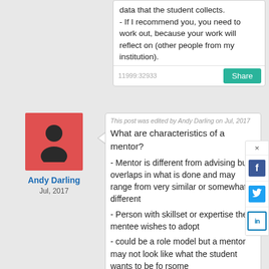data that the student collects. - If I recommend you, you need to work out, because your work will reflect on (other people from my institution).
11999:32933
Share
[Figure (illustration): Red/salmon colored avatar placeholder square with a silhouette of a person icon in dark color]
Andy Darling
Jul, 2017
This post was edited by Andy Darling on Jul, 2017
What are characteristics of a mentor?
- Mentor is different from advising but overlaps in what is done and may range from very similar or somewhat different
- Person with skillset or expertise the mentee wishes to adopt
- could be a role model but a mentor may not look like what the student wants to be fo rsome